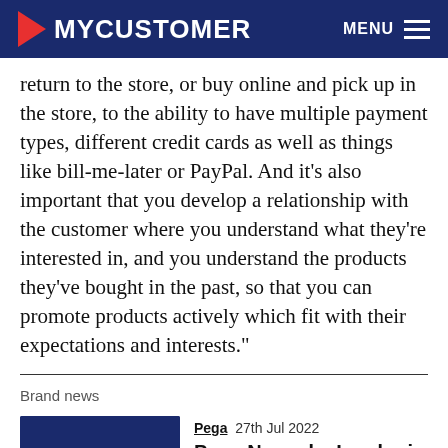MYCUSTOMER   MENU
return to the store, or buy online and pick up in the store, to the ability to have multiple payment types, different credit cards as well as things like bill-me-later or PayPal. And it’s also important that you develop a relationship with the customer where you understand what they’re interested in, and you understand the products they’ve bought in the past, so that you can promote products actively which fit with their expectations and interests.”
Brand news
Pega  27th Jul 2022
Pega Named a Leader in Gar...